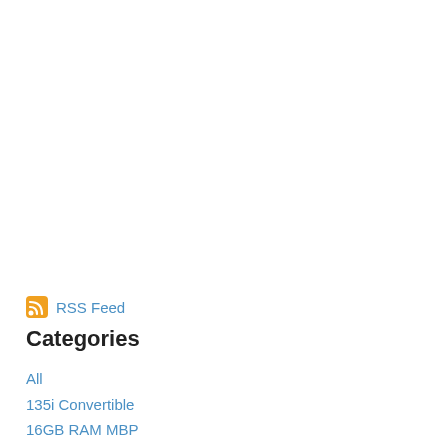RSS Feed
Categories
All
135i Convertible
16GB RAM MBP
1 Series
2010 Mac Mini For Media
2011 MBP Dock